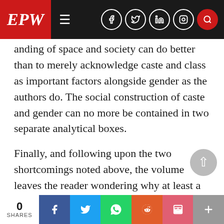EPW
anding of space and society can do better than to merely acknowledge caste and class as important factors alongside gender as the authors do. The social construction of caste and gender can no more be contained in two separate analytical boxes.
Finally, and following upon the two shortcomings noted above, the volume leaves the reader wondering why at least a tentative agenda for engendering and fostering new geographic research in India could not have been included in the volume. It is a strange irony that in any international geography quiz, Indian students can